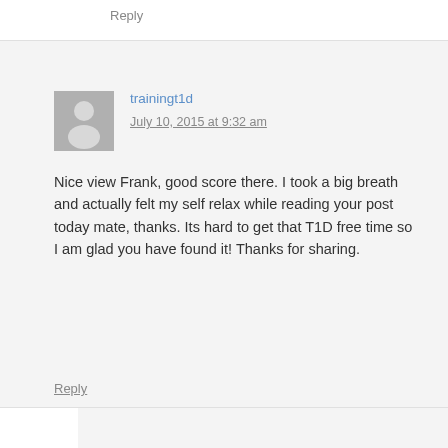Reply
trainingt1d
July 10, 2015 at 9:32 am
Nice view Frank, good score there. I took a big breath and actually felt my self relax while reading your post today mate, thanks. Its hard to get that T1D free time so I am glad you have found it! Thanks for sharing.
Reply